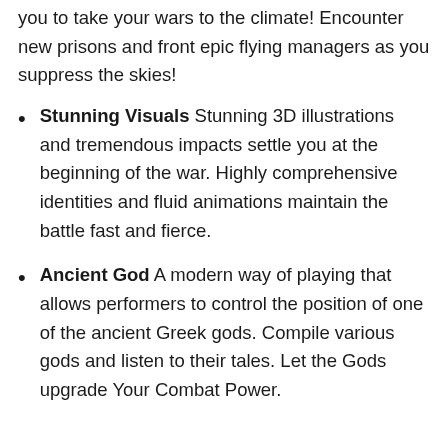you to take your wars to the climate! Encounter new prisons and front epic flying managers as you suppress the skies!
Stunning Visuals Stunning 3D illustrations and tremendous impacts settle you at the beginning of the war. Highly comprehensive identities and fluid animations maintain the battle fast and fierce.
Ancient God A modern way of playing that allows performers to control the position of one of the ancient Greek gods. Compile various gods and listen to their tales. Let the Gods upgrade Your Combat Power.